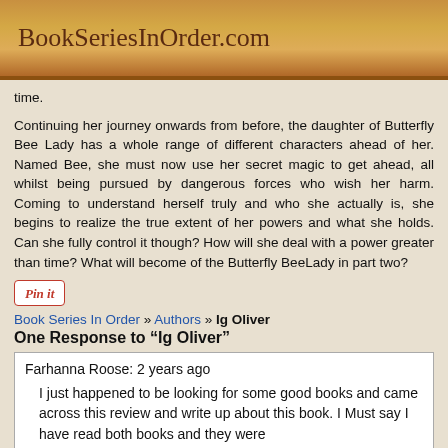BookSeriesInOrder.com
time.
Continuing her journey onwards from before, the daughter of Butterfly Bee Lady has a whole range of different characters ahead of her. Named Bee, she must now use her secret magic to get ahead, all whilst being pursued by dangerous forces who wish her harm. Coming to understand herself truly and who she actually is, she begins to realize the true extent of her powers and what she holds. Can she fully control it though? How will she deal with a power greater than time? What will become of the Butterfly BeeLady in part two?
[Figure (other): Pin it button]
Book Series In Order » Authors » Ig Oliver
One Response to “Ig Oliver”
Farhanna Roose: 2 years ago
I just happened to be looking for some good books and came across this review and write up about this book. I Must say I have read both books and they were